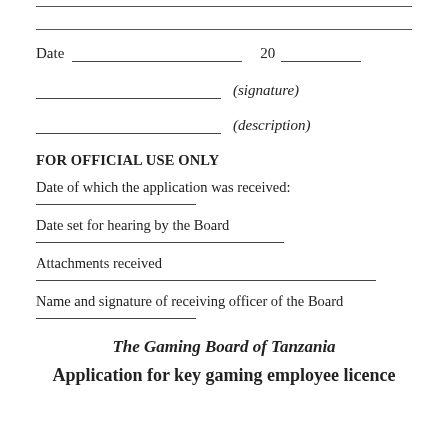Date ___________________________________ 20 ___________
___________________________________ (signature)
___________________________________ (description)
FOR OFFICIAL USE ONLY
Date of which the application was received:
Date set for hearing by the Board
Attachments received
Name and signature of receiving officer of the Board
The Gaming Board of Tanzania
Application for key gaming employee licence